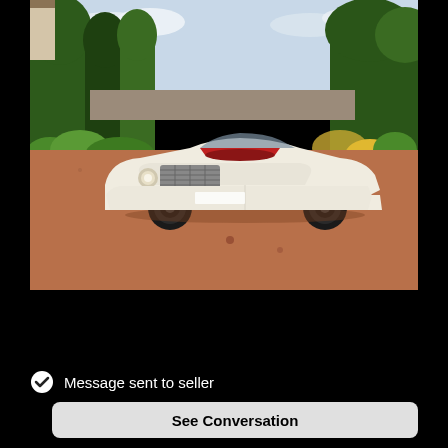[Figure (photo): Classic cream/white convertible sports car (MGB style) parked on a gravel driveway in front of lush green landscaping with trees and bushes. The car has a red interior, black wheels, and the top is down. Photographed from a front three-quarter angle on a partly cloudy day.]
Message sent to seller
See Conversation